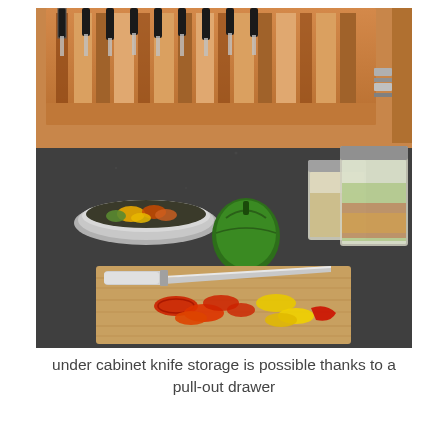[Figure (photo): A kitchen scene showing a pull-out wooden drawer under an upper cabinet containing knives stored horizontally. On the dark granite countertop below are a wooden cutting board with sliced red and yellow bell peppers and a chef's knife, a green bell pepper, a stainless steel bowl with sliced vegetables, and two clear glass/acrylic storage containers with grains and shredded vegetables.]
under cabinet knife storage is possible thanks to a pull-out drawer